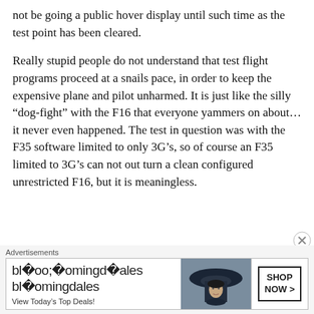not be going a public hover display until such time as the test point has been cleared.
Really stupid people do not understand that test flight programs proceed at a snails pace, in order to keep the expensive plane and pilot unharmed. It is just like the silly “dog-fight” with the F16 that everyone yammers on about… it never even happened. The test in question was with the F35 software limited to only 3G’s, so of course an F35 limited to 3G’s can not out turn a clean configured unrestricted F16, but it is meaningless.
[Figure (other): Bloomingdale's advertisement banner with logo, tagline 'View Today's Top Deals!', woman in wide-brim hat, and 'SHOP NOW >' call-to-action button]